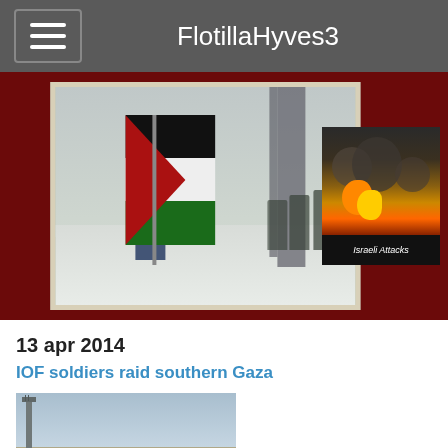FlotillaHyves3
[Figure (photo): Banner image with dark red background. Center: a Palestinian boy running holding a large Palestinian flag with Israeli soldiers in background. Right thumbnail: explosion/fire image labeled 'Israeli Attacks'.]
13 apr 2014
IOF soldiers raid southern Gaza
[Figure (photo): Photo of military tanks/armored vehicles in a desert landscape with a communications tower.]